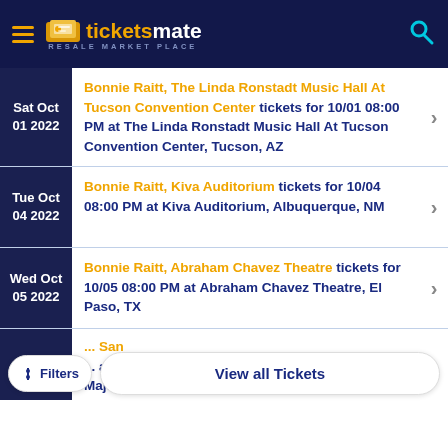ticketsmate RESALE MARKET PLACE
Sat Oct 01 2022 — Bonnie Raitt, The Linda Ronstadt Music Hall At Tucson Convention Center tickets for 10/01 08:00 PM at The Linda Ronstadt Music Hall At Tucson Convention Center, Tucson, AZ
Tue Oct 04 2022 — Bonnie Raitt, Kiva Auditorium tickets for 10/04 08:00 PM at Kiva Auditorium, Albuquerque, NM
Wed Oct 05 2022 — Bonnie Raitt, Abraham Chavez Theatre tickets for 10/05 08:00 PM at Abraham Chavez Theatre, El Paso, TX
Bonnie Raitt, ... San ... at Majestic Theatre San Antonio, San ...
View all Tickets
Filters